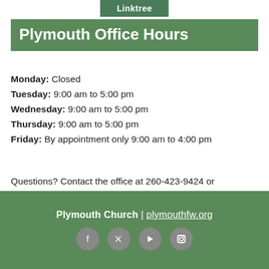Linktree
Plymouth Office Hours
Monday: Closed
Tuesday: 9:00 am to 5:00 pm
Wednesday: 9:00 am to 5:00 pm
Thursday: 9:00 am to 5:00 pm
Friday: By appointment only 9:00 am to 4:00 pm
Questions? Contact the office at 260-423-9424 or office@plymouthfw.org
Plymouth Church | plymouthfw.org